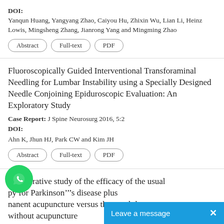DOI:
Yanqun Huang, Yangyang Zhao, Caiyou Hu, Zhixin Wu, Lian Li, Heinz Lowis, Mingsheng Zhang, Jianrong Yang and Mingming Zhao
Abstract | Full-text | PDF
Fluoroscopically Guided Interventional Transforaminal Needling for Lumbar Instability using a Specially Designed Needle Conjoining Epiduroscopic Evaluation: An Exploratory Study
Case Report: J Spine Neurosurg 2016, 5:2
DOI:
Ahn K, Jhun HJ, Park CW and Kim JH
Abstract | Full-text | PDF
Comparative study of the efficacy of the usual py for Parkinson’s disease plus nanent acupuncture versus the usual therapy without acupuncture
[Figure (other): WhatsApp chat button icon - green circle with white phone handset]
Leave a message  X